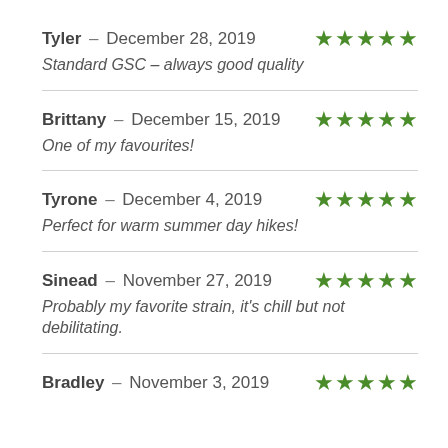Tyler – December 28, 2019 ★★★★★ Standard GSC – always good quality
Brittany – December 15, 2019 ★★★★★ One of my favourites!
Tyrone – December 4, 2019 ★★★★★ Perfect for warm summer day hikes!
Sinead – November 27, 2019 ★★★★★ Probably my favorite strain, it's chill but not debilitating.
Bradley – November 3, 2019 ★★★★★